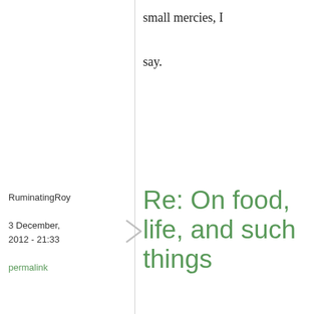small mercies, I say.
RuminatingRoy
3 December, 2012 - 21:33
permalink
Re: On food, life, and such things
Miss Itoh, I'm glad to see that you're recovering, but also saddened to hear about the diab...